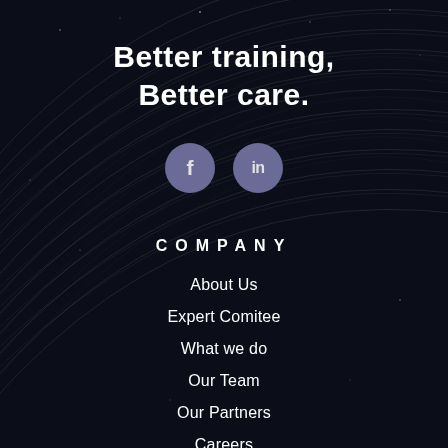Better training, Better care.
[Figure (illustration): Two circular social media icon buttons: Facebook (f) and LinkedIn (in), with purple/lavender background circles on a dark star-trail night sky background.]
COMPANY
About Us
Expert Comitee
What we do
Our Team
Our Partners
Careers
Blog
Press Releases